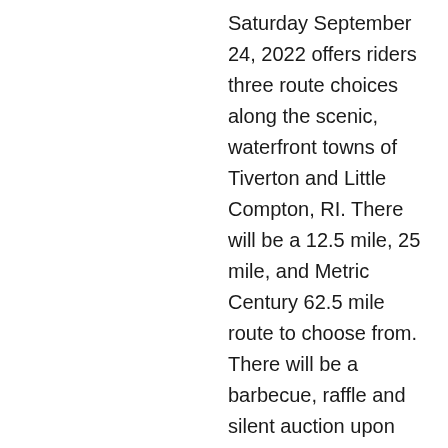Saturday September 24, 2022 offers riders three route choices along the scenic, waterfront towns of Tiverton and Little Compton, RI. There will be a 12.5 mile, 25 mile, and Metric Century 62.5 mile route to choose from. There will be a barbecue, raffle and silent auction upon riders return.
For those people who do not wish to ride, there will also be a “MILES FOR MEGAN” walk that will take place on the track at Town Farm Recreational Facility in Tiverton, RI.
All proceeds benefit the Megan L...